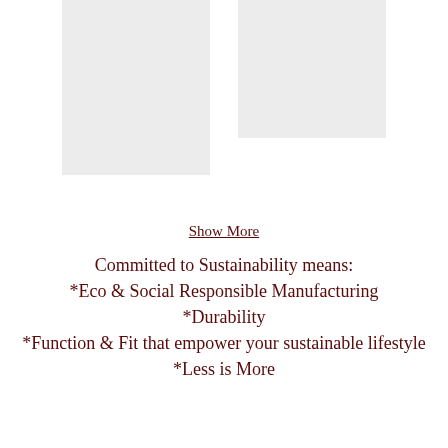[Figure (photo): Two light gray placeholder image boxes side by side at the top of the page]
Show More
Committed to Sustainability means:
*Eco & Social Responsible Manufacturing
*Durability
*Function & Fit that empower your sustainable lifestyle
*Less is More